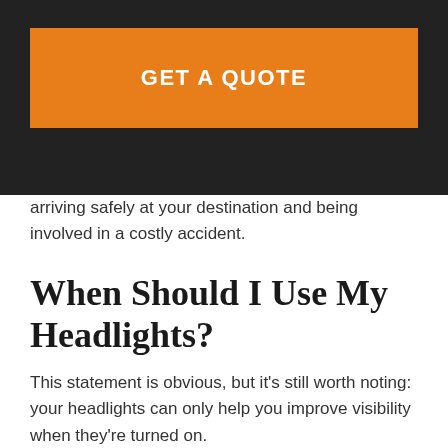[Figure (other): Orange 'GET A QUOTE' button on dark background header]
arriving safely at your destination and being involved in a costly accident.
When Should I Use My Headlights?
This statement is obvious, but it's still worth noting: your headlights can only help you improve visibility when they're turned on.